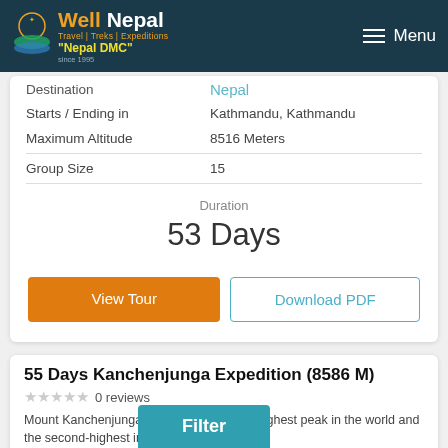Well Nepal Travel | Treks | Expeditions 'Nepal DMC' — Menu
| Field | Value |
| --- | --- |
| Destination | Nepal |
| Starts / Ending in | Kathmandu, Kathmandu |
| Maximum Altitude | 8516 Meters |
| Group Size | 15 |
Duration
53 Days
View Tour
Download PDF
55 Days Kanchenjunga Expedition (8586 M)
0 reviews
Mount Kanchenjunga (8586m) is the third highest peak in the world and the second-highest in Nepal. I...
Destination Nepal
Starts / Ending in Kathmandu, Kathmandu
Filter